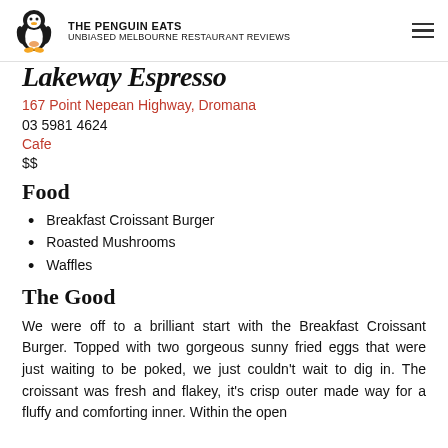THE PENGUIN EATS UNBIASED MELBOURNE RESTAURANT REVIEWS
Lakeway Espresso
167 Point Nepean Highway, Dromana
03 5981 4624
Cafe
$$
Food
Breakfast Croissant Burger
Roasted Mushrooms
Waffles
The Good
We were off to a brilliant start with the Breakfast Croissant Burger. Topped with two gorgeous sunny fried eggs that were just waiting to be poked, we just couldn't wait to dig in. The croissant was fresh and flakey, it's crisp outer made way for a fluffy and comforting inner. Within the open